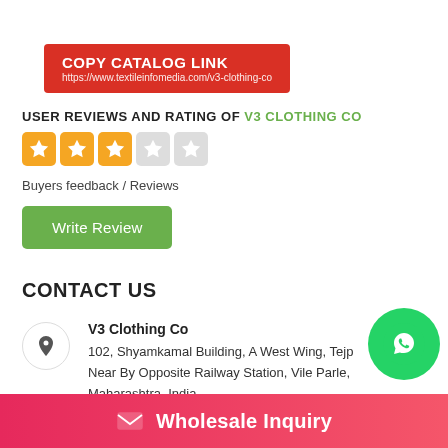[Figure (other): Red button labeled COPY CATALOG LINK with URL https://www.textileinfomedia.com/v3-clothing-co]
USER REVIEWS AND RATING OF V3 CLOTHING CO
[Figure (other): Star rating showing 3 out of 5 filled gold stars on yellow squares, 2 empty grey squares]
Buyers feedback / Reviews
[Figure (other): Green button labeled Write Review]
CONTACT US
V3 Clothing Co
102, Shyamkamal Building, A West Wing, Tejp
Near By Opposite Railway Station, Vile Parle,
Maharashtra, India
[Figure (other): WhatsApp green circle icon button]
Wholesale Inquiry